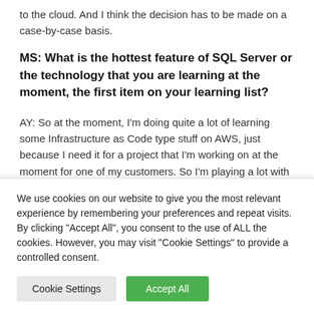to the cloud. And I think the decision has to be made on a case-by-case basis.
MS: What is the hottest feature of SQL Server or the technology that you are learning at the moment, the first item on your learning list?
AY: So at the moment, I'm doing quite a lot of learning some Infrastructure as Code type stuff on AWS, just because I need it for a project that I'm working on at the moment for one of my customers. So I'm playing a lot with Octopus Runbooks and AWS PowerShell and
We use cookies on our website to give you the most relevant experience by remembering your preferences and repeat visits. By clicking "Accept All", you consent to the use of ALL the cookies. However, you may visit "Cookie Settings" to provide a controlled consent.